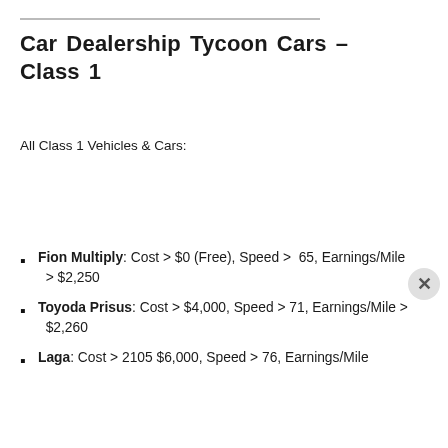Car Dealership Tycoon Cars – Class 1
All Class 1 Vehicles & Cars:
Fion Multiply: Cost > $0 (Free), Speed > 65, Earnings/Mile > $2,250
Toyoda Prisus: Cost > $4,000, Speed > 71, Earnings/Mile > $2,260
Laga: Cost > 2105 $6,000, Speed > 76, Earnings/Mile